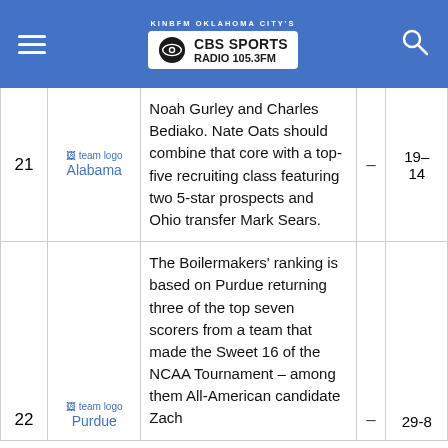KINBFM OKLAHOMA CITY'S CBS SPORTS RADIO 105.3FM
| Rank | Team | Description | Change | Record |
| --- | --- | --- | --- | --- |
| 21 | Alabama | Noah Gurley and Charles Bediako. Nate Oats should combine that core with a top-five recruiting class featuring two 5-star prospects and Ohio transfer Mark Sears. | – | 19–14 |
| 22 | Purdue | The Boilermakers' ranking is based on Purdue returning three of the top seven scorers from a team that made the Sweet 16 of the NCAA Tournament – among them All-American candidate Zach | – | 29-8 |